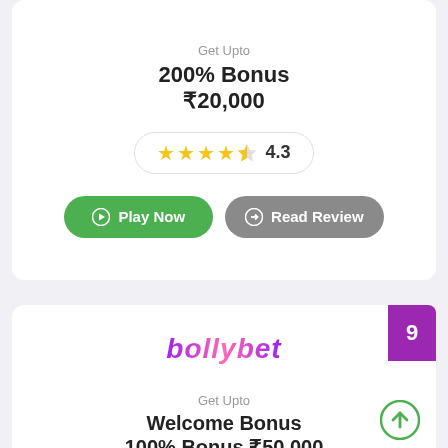Get Upto
200% Bonus
₹20,000
4.3
Play Now
Read Review
9
[Figure (logo): bollybet logo in purple/pink gradient italic text]
Get Upto
Welcome Bonus
100% Bonus ₹50,000